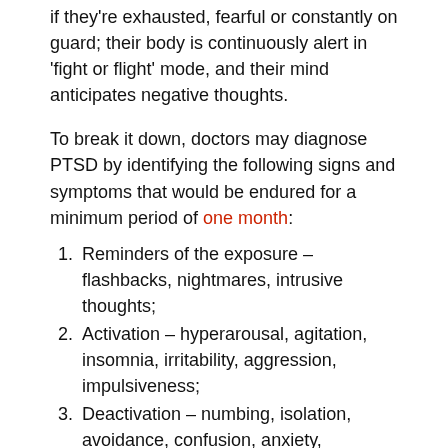if they're exhausted, fearful or constantly on guard; their body is continuously alert in 'fight or flight' mode, and their mind anticipates negative thoughts.
To break it down, doctors may diagnose PTSD by identifying the following signs and symptoms that would be endured for a minimum period of one month:
Reminders of the exposure – flashbacks, nightmares, intrusive thoughts;
Activation – hyperarousal, agitation, insomnia, irritability, aggression, impulsiveness;
Deactivation – numbing, isolation, avoidance, confusion, anxiety, depression.
The first-line treatment for PTSD is psychotherapy. Various other medications include serotonin/norepinephrine reuptake inhibitors, antidepressants, and other treatments.